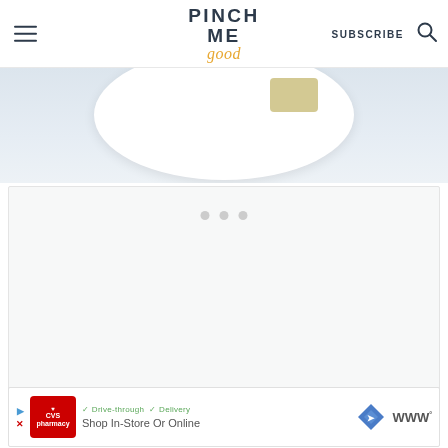PINCH ME good — SUBSCRIBE
[Figure (photo): Partial view of a white plate with food on a light marble surface, cropped at top]
[Figure (other): Advertisement placeholder area with three dots loading indicator]
[Figure (other): CVS Pharmacy advertisement banner: Drive-through, Delivery, Shop In-Store Or Online]